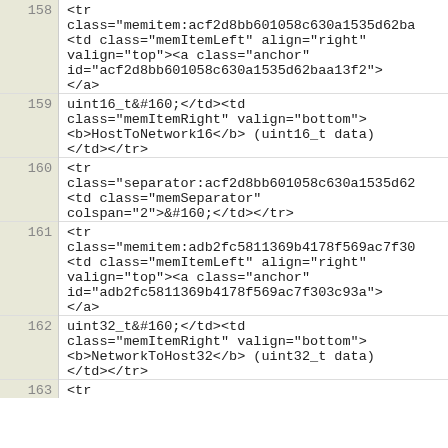158: <tr class="memitem:acf2d8bb601058c630a1535d62ba <td class="memItemLeft" align="right" valign="top"><a class="anchor" id="acf2d8bb601058c630a1535d62baa13f2"> </a>
159: uint16_t&#160;</td><td class="memItemRight" valign="bottom"> <b>HostToNetwork16</b> (uint16_t data) </td></tr>
160: <tr class="separator:acf2d8bb601058c630a1535d62 <td class="memSeparator" colspan="2">&#160;</td></tr>
161: <tr class="memitem:adb2fc5811369b4178f569ac7f30 <td class="memItemLeft" align="right" valign="top"><a class="anchor" id="adb2fc5811369b4178f569ac7f303c93a"> </a>
162: uint32_t&#160;</td><td class="memItemRight" valign="bottom"> <b>NetworkToHost32</b> (uint32_t data) </td></tr>
163: <tr